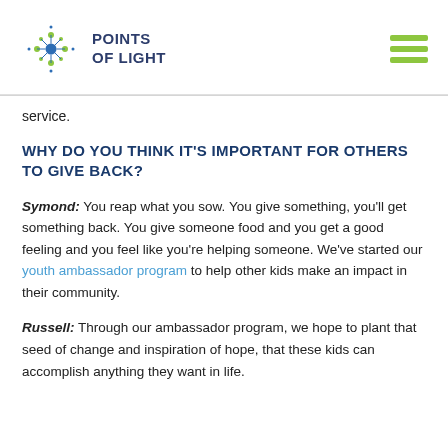[Figure (logo): Points of Light logo with star/dot graphic and text 'POINTS OF LIGHT']
service.
WHY DO YOU THINK IT'S IMPORTANT FOR OTHERS TO GIVE BACK?
Symond: You reap what you sow. You give something, you'll get something back. You give someone food and you get a good feeling and you feel like you're helping someone. We've started our youth ambassador program to help other kids make an impact in their community.
Russell: Through our ambassador program, we hope to plant that seed of change and inspiration of hope, that these kids can accomplish anything they want in life.